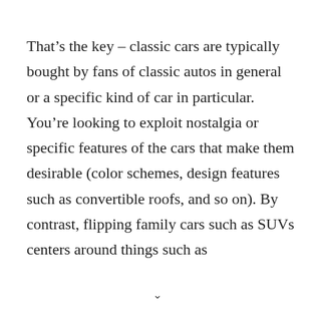That's the key – classic cars are typically bought by fans of classic autos in general or a specific kind of car in particular. You're looking to exploit nostalgia or specific features of the cars that make them desirable (color schemes, design features such as convertible roofs, and so on). By contrast, flipping family cars such as SUVs centers around things such as